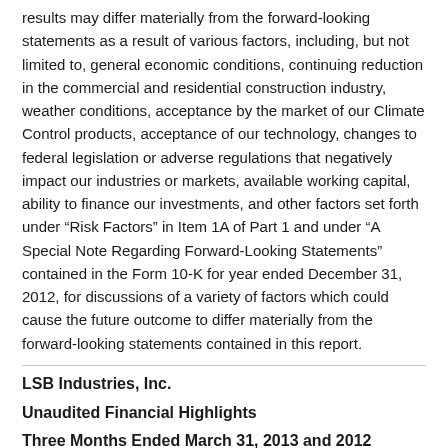results may differ materially from the forward-looking statements as a result of various factors, including, but not limited to, general economic conditions, continuing reduction in the commercial and residential construction industry, weather conditions, acceptance by the market of our Climate Control products, acceptance of our technology, changes to federal legislation or adverse regulations that negatively impact our industries or markets, available working capital, ability to finance our investments, and other factors set forth under “Risk Factors” in Item 1A of Part 1 and under “A Special Note Regarding Forward-Looking Statements” contained in the Form 10-K for year ended December 31, 2012, for discussions of a variety of factors which could cause the future outcome to differ materially from the forward-looking statements contained in this report.
LSB Industries, Inc.
Unaudited Financial Highlights
Three Months Ended March 31, 2013 and 2012